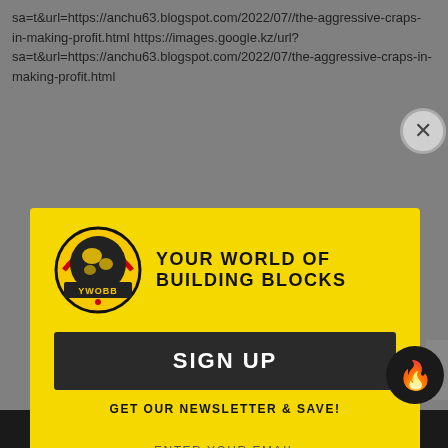sa=t&url=https://anchu63.blogspot.com/2022/07//the-aggressive-craps-in-making-profit.html https://images.google.kz/url? sa=t&url=https://anchu63.blogspot.com/2022/07/the-aggressive-craps-in-making-profit.html
[Figure (logo): YWOBB - Your World of Building Blocks logo: globe with yellow background, 'YWOBB' text on banner, bold uppercase text to the right.]
SIGN UP
GET OUR NEWSLETTER & SAVE!
ENTER YOUR EMAIL
SUBSCRIBE
https://images.google.iq/url?
SHOW SIDEBAR +